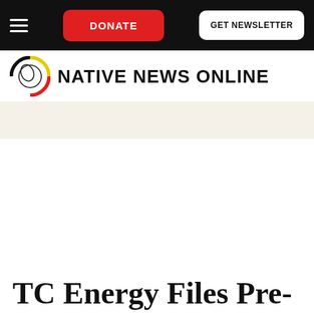DONATE | GET NEWSLETTER
[Figure (logo): Native News Online logo with circular feather/medicine wheel icon and bold uppercase text 'NATIVE NEWS ONLINE']
TC Energy Files Pre-